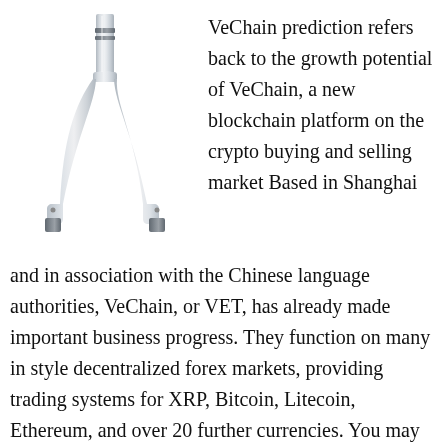[Figure (illustration): A chrome/silver bicycle fork, upright orientation, metallic sheen, standing alone on white background.]
VeChain prediction refers back to the growth potential of VeChain, a new blockchain platform on the crypto buying and selling market Based in Shanghai and in association with the Chinese language authorities, VeChain, or VET, has already made important business progress. They function on many in style decentralized forex markets, providing trading systems for XRP, Bitcoin, Litecoin, Ethereum, and over 20 further currencies. You may log in to any Karoo together with your Hammerhead account and automatically sync your pre-paired sensors, routes, page units, Strava account, and extra. While most